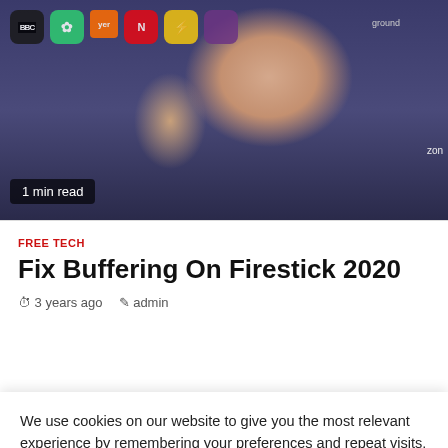[Figure (photo): Man giving thumbs up in front of a streaming app interface showing various app icons including BBC, Netflix, and Amazon. Badge reads '1 min read'.]
FREE TECH
Fix Buffering On Firestick 2020
3 years ago   admin
We use cookies on our website to give you the most relevant experience by remembering your preferences and repeat visits. By clicking "Accept All", you consent to the use of ALL the cookies. However, you may visit "Cookie Settings" to provide a controlled consent.